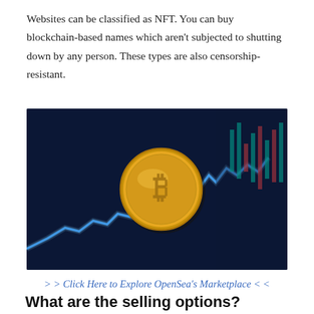Websites can be classified as NFT. You can buy blockchain-based names which aren't subjected to shutting down by any person. These types are also censorship-resistant.
[Figure (photo): A gold Bitcoin coin in the foreground with a blue glowing stock chart line in the background, set against a dark navy blue background with blurred trading chart data on the right side.]
>> Click Here to Explore OpenSea's Marketplace <<
What are the selling options?